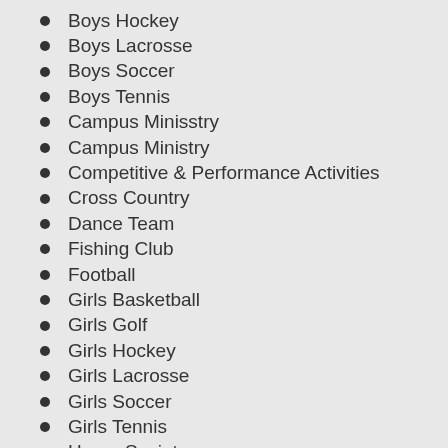Boys Hockey
Boys Lacrosse
Boys Soccer
Boys Tennis
Campus Minisstry
Campus Ministry
Competitive & Performance Activities
Cross Country
Dance Team
Fishing Club
Football
Girls Basketball
Girls Golf
Girls Hockey
Girls Lacrosse
Girls Soccer
Girls Tennis
Honor Society
Instrumental Music
Knowledge Bowl